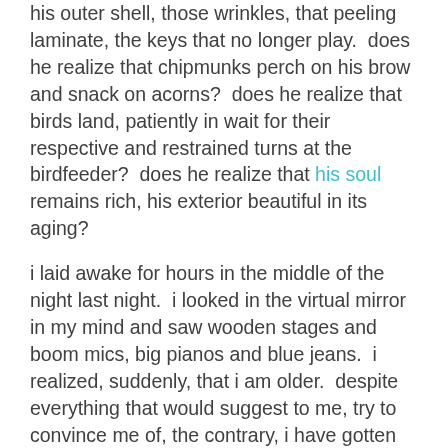his outer shell, those wrinkles, that peeling laminate, the keys that no longer play.  does he realize that chipmunks perch on his brow and snack on acorns?  does he realize that birds land, patiently in wait for their respective and restrained turns at the birdfeeder?  does he realize that his soul remains rich, his exterior beautiful in its aging?
i laid awake for hours in the middle of the night last night.  i looked in the virtual mirror in my mind and saw wooden stages and boom mics, big pianos and blue jeans.  i realized, suddenly, that i am older.  despite everything that would suggest to me, try to convince me of, the contrary, i have gotten older.
scrolling through social media during this time of distancing it is stunning to see all the ways people are incorporating posting with streaming, youtube, visiting with google hangout, facetime, videoconferencing with zoom, webex, as they try to be there without being there.